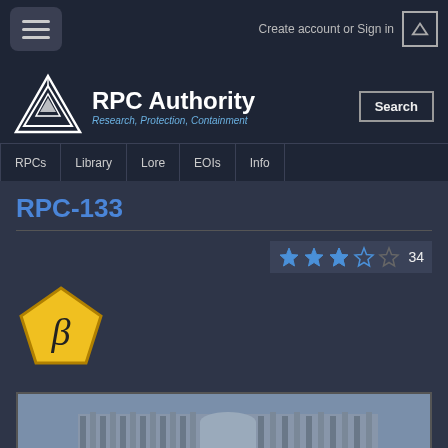Create account or Sign in
RPC Authority
Research, Protection, Containment
RPCs | Library | Lore | EOIs | Info
RPC-133
[Figure (other): Star rating: 2.5 out of 5 stars, with count 34]
[Figure (logo): Yellow pentagon badge with beta symbol (β)]
[Figure (photo): Photograph of a large modernist building with vertical fins and a cylindrical tower]